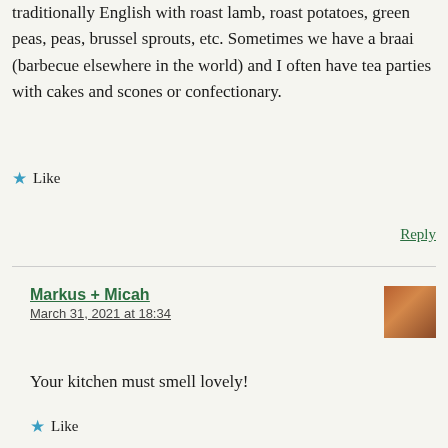traditionally English with roast lamb, roast potatoes, green peas, peas, brussel sprouts, etc. Sometimes we have a braai (barbecue elsewhere in the world) and I often have tea parties with cakes and scones or confectionary.
Like
Reply
Markus + Micah
March 31, 2021 at 18:34
Your kitchen must smell lovely!
Like